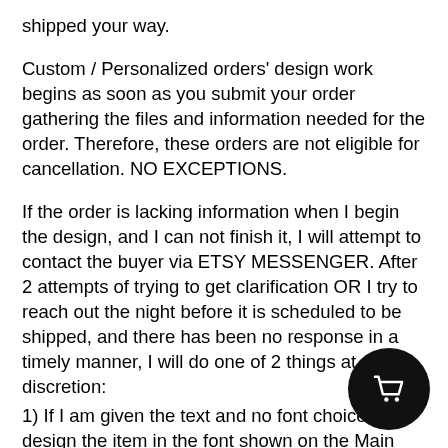shipped your way.
Custom / Personalized orders' design work begins as soon as you submit your order gathering the files and information needed for the order. Therefore, these orders are not eligible for cancellation. NO EXCEPTIONS.
If the order is lacking information when I begin the design, and I can not finish it, I will attempt to contact the buyer via ETSY MESSENGER. After 2 attempts of trying to get clarification OR I try to reach out the night before it is scheduled to be shipped, and there has been no response in a timely manner, I will do one of 2 things at my discretion:
1) If I am given the text and no font choice, I will design the item in the font shown on the Main Listing P[age] in a Popular Font.
2) If text and font information is not given in the o[rder] notes, I will conclude that the order has been